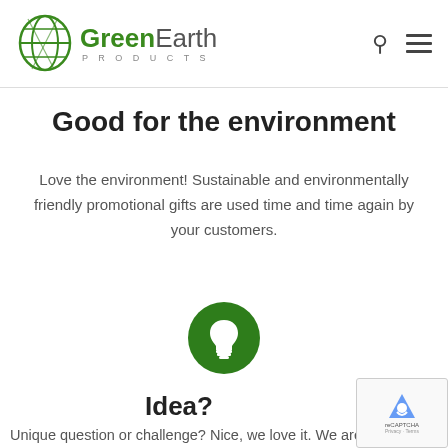GreenEarth PRODUCTS
Good for the environment
Love the environment! Sustainable and environmentally friendly promotional gifts are used time and time again by your customers.
[Figure (illustration): Green circle with white lightbulb icon]
Idea?
Unique question or challenge? Nice, we love it. We are the best in...